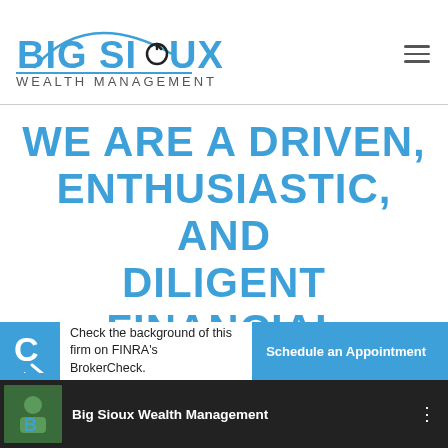[Figure (logo): Big Sioux Wealth Management logo with arc and text]
WE ARE A DRIVEN, ENTHUSIASTIC, AND DILIGENT FINANCIAL ADVISORY FIRM
[Figure (infographic): BrokerCheck banner with C icon, text 'Check the background of this firm on FINRA's BrokerCheck.' and Schedule an Appointment button]
[Figure (screenshot): Video footer bar showing Big Sioux Wealth Management thumbnail and title]